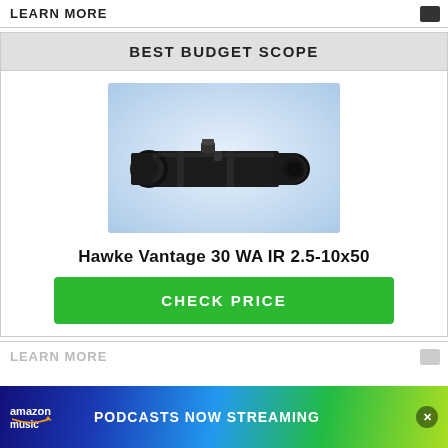LEARN MORE
BEST BUDGET SCOPE
[Figure (photo): Hawke Vantage 30 WA IR 2.5-10x50 rifle scope shown in profile against a light blue gradient background]
Hawke Vantage 30 WA IR 2.5-10x50
CHECK PRICE
LEARN MORE
[Figure (infographic): Amazon Music advertisement banner: PODCASTS NOW STREAMING]